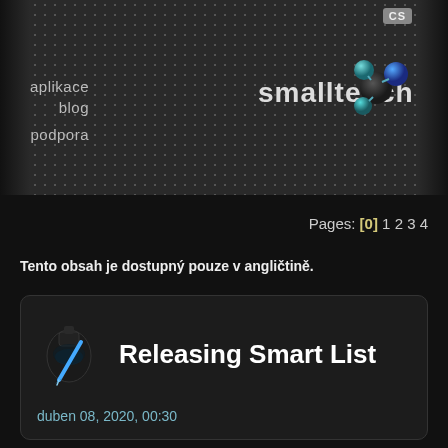[Figure (screenshot): Smalltech website header with dark metal dot-grid background, navigation links (aplikace, blog, podpora), the smalltech logo text with a 3D molecule illustration, and CS language badge in top right.]
CS
aplikace
blog
podpora
Pages: [0] 1 2 3 4
Tento obsah je dostupný pouze v angličtině.
Releasing Smart List
duben 08, 2020, 00:30